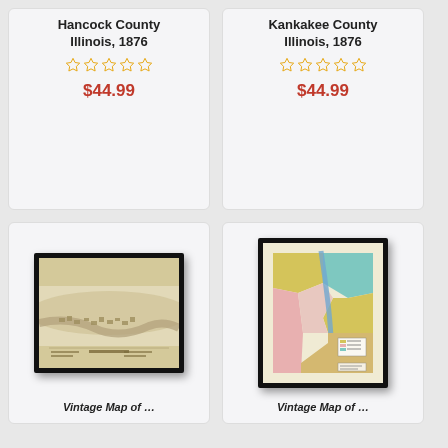Hancock County Illinois, 1876
☆☆☆☆☆
$44.99
Kankakee County Illinois, 1876
☆☆☆☆☆
$44.99
[Figure (photo): Framed bird's-eye view panoramic map of Rockford, Illinois in sepia tones]
[Figure (map): Framed vintage color county map showing districts with yellow, pink, green, and teal regions with a river running through]
Vintage Map of …
Vintage Map of …